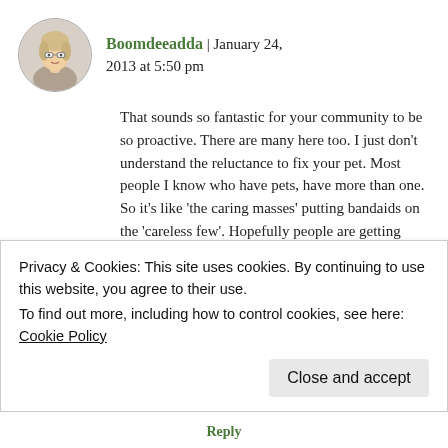[Figure (photo): Circular avatar photo of a woman with glasses and light hair]
Boomdeeadda | January 24, 2013 at 5:50 pm
That sounds so fantastic for your community to be so proactive. There are many here too. I just don't understand the reluctance to fix your pet. Most people I know who have pets, have more than one. So it's like 'the caring masses' putting bandaids on the 'careless few'. Hopefully people are getting smarter. It's always good to put
Privacy & Cookies: This site uses cookies. By continuing to use this website, you agree to their use.
To find out more, including how to control cookies, see here: Cookie Policy
Close and accept
Reply